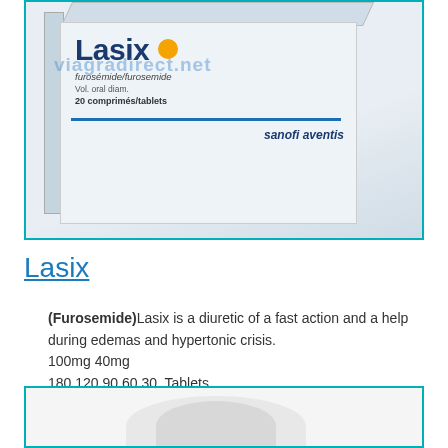[Figure (photo): Lasix (furosemide) medicine box by Sanofi Aventis showing '20 comprimés/tablets' with viagradirect.net watermark overlay]
Lasix
(Furosemide)Lasix is a diuretic of a fast action and a help during edemas and hypertonic crisis.
100mg 40mg
180,120,90,60,30, Tablets
Price: A$0.45
[Figure (photo): Partially visible product image at the bottom of the page]